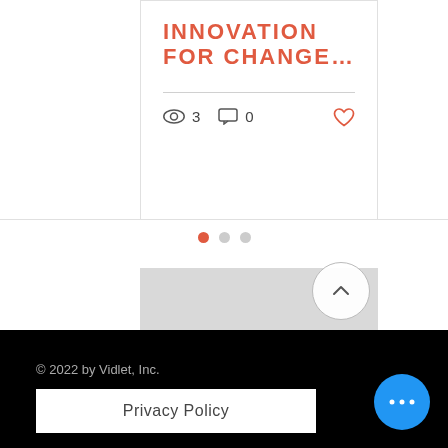INNOVATION FOR CHANGE...
3 views · 0 comments · 0 likes
[Figure (other): Pagination dots: first dot active (red), two inactive (gray)]
[Figure (map): Gray map placeholder area]
[Figure (other): Scroll to top button with chevron up icon]
© 2022 by Vidlet, Inc.
Privacy Policy